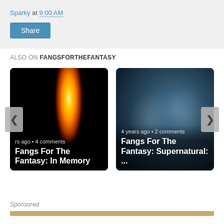Sparky at 9:00 AM
Share
ALSO ON FANGSFORTHEFANTASY
[Figure (screenshot): Card for Fangs For The Fantasy: In Memory — shows candle flame on black background, text: 'rs ago • 4 comments']
[Figure (screenshot): Card for Fangs For The Fantasy: Supernatural: ... — shows two faces against dark teal misty background, text: '4 years ago • 2 comments']
Sponsored